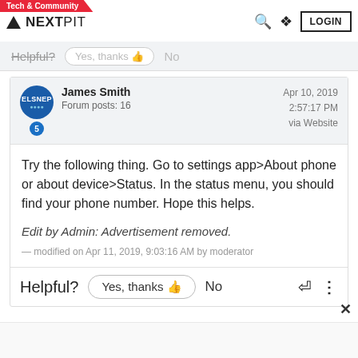Tech & Community | NEXTPIT | LOGIN
Helpful? Yes, thanks No
James Smith
Forum posts: 16
Apr 10, 2019
2:57:17 PM
via Website
Try the following thing. Go to settings app>About phone or about device>Status. In the status menu, you should find your phone number. Hope this helps.

Edit by Admin: Advertisement removed.

— modified on Apr 11, 2019, 9:03:16 AM by moderator
Helpful? Yes, thanks No